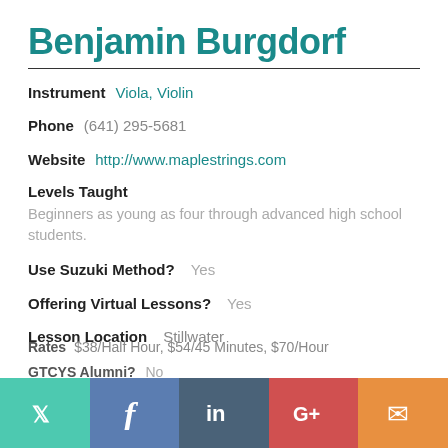Benjamin Burgdorf
Instrument  Viola, Violin
Phone  (641) 295-5681
Website  http://www.maplestrings.com
Levels Taught
Beginners as young as four through advanced high school students.
Use Suzuki Method?  Yes
Offering Virtual Lessons?  Yes
Lesson Location  Stillwater
Rates  $38/Half Hour, $54/45 Minutes, $70/Hour
GTCYS Alumni?  No